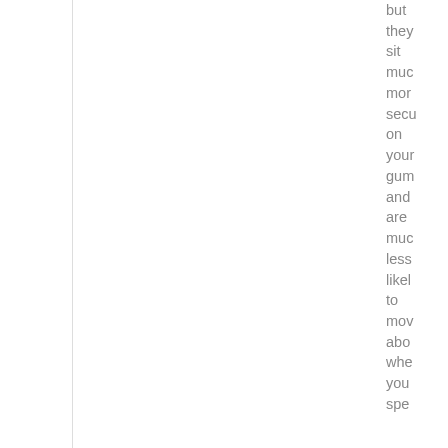but they sit much more securely on your gum and are much less likely to move about when you spe...
[Figure (other): WhatsApp contact button - circular black button with white WhatsApp speech bubble icon]